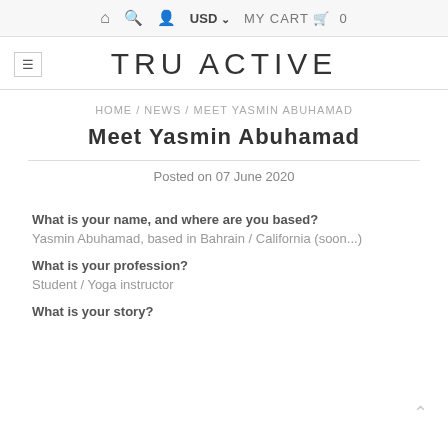⌂  🔍  👤  USD ∨  MY CART 🛒  0
TRU ACTIVE
HOME / NEWS / MEET YASMIN ABUHAMAD
Meet Yasmin Abuhamad
Posted on 07 June 2020
What is your name, and where are you based?
Yasmin Abuhamad, based in Bahrain / California (soon...)
What is your profession?
Student / Yoga instructor
What is your story?